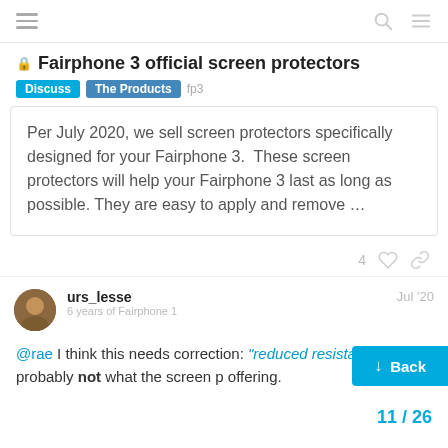Fairphone 3 official screen protectors | Discuss | The Products | fp3
Per July 2020, we sell screen protectors specifically designed for your Fairphone 3. These screen protectors will help your Fairphone 3 last as long as possible. They are easy to apply and remove ...
4 ♡
urs_lesse
6 years of Fairphone 1
Jul '20
@rae I think this needs correction: "reduced resistance" is probably not what the screen protector is offering.